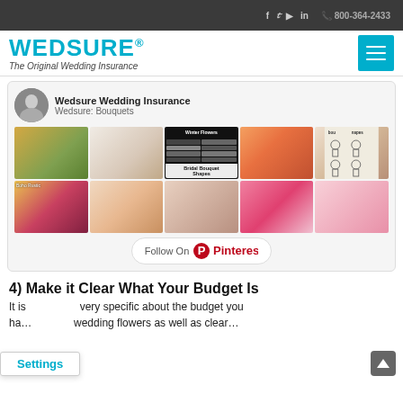f  t  youtube  in   800-364-2433
[Figure (logo): WEDSURE® logo with tagline 'The Original Wedding Insurance' and teal hamburger menu button]
[Figure (screenshot): Pinterest board embed showing Wedsure Wedding Insurance - Wedsure: Bouquets board with a grid of flower/bouquet photos and a 'Bridal Bouquet Shapes' graphic, plus a Follow On Pinterest button]
4) Make it Clear What Your Budget Is
It is very specific about the budget you ha... wedding flowers as well as clear...